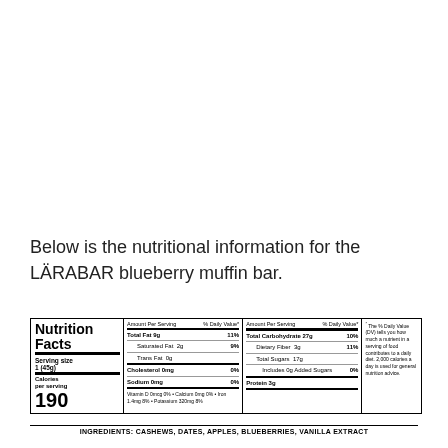Below is the nutritional information for the LÄRABAR blueberry muffin bar.
|  | Amount Per Serving | % Daily Value* |
| --- | --- | --- |
| Total Fat | 9g | 11% |
| Saturated Fat | 2g | 9% |
| Trans Fat | 0g |  |
| Cholesterol | 0mg | 0% |
| Sodium | 0mg | 0% |
| Total Carbohydrate | 27g | 10% |
| Dietary Fiber | 3g | 11% |
| Total Sugars | 17g |  |
| Includes 0g Added Sugars |  | 0% |
| Protein | 3g |  |
* The % Daily Value (DV) tells you how much a nutrient in a serving of food contributes to a daily diet. 2,000 calories a day is used for general nutrition advice.
Vitamin D 0mcg 0% • Calcium 0mg 0% • Iron 1.4mg 8% • Potassium 320mg 8%
INGREDIENTS: CASHEWS, DATES, APPLES, BLUEBERRIES, VANILLA EXTRACT